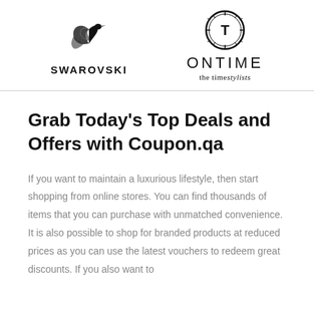[Figure (logo): Swarovski swan logo with swan icon above brand name SWAROVSKI in bold capitals]
[Figure (logo): ONTIME logo with circular gear/clock icon above text ONTIME and tagline 'the timestylists']
Grab Today's Top Deals and Offers with Coupon.qa
If you want to maintain a luxurious lifestyle, then start shopping from online stores. You can find thousands of items that you can purchase with unmatched convenience. It is also possible to shop for branded products at reduced prices as you can use the latest vouchers to redeem great discounts. If you also want to